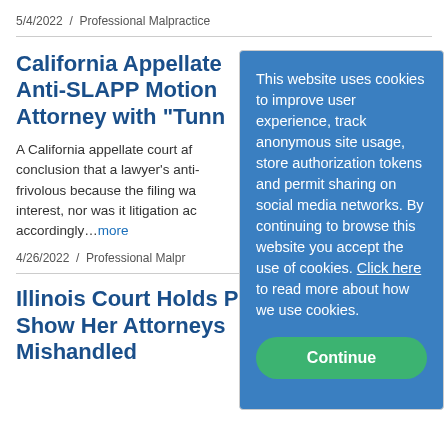5/4/2022 / Professional Malpractice
California Appellate Anti-SLAPP Motion Attorney with "Tunn
A California appellate court af... conclusion that a lawyer's anti- frivolous because the filing wa interest, nor was it litigation ac accordingly…more
4/26/2022 / Professional Malpr
Illinois Court Holds P Show Her Attorneys Mishandled
This website uses cookies to improve user experience, track anonymous site usage, store authorization tokens and permit sharing on social media networks. By continuing to browse this website you accept the use of cookies. Click here to read more about how we use cookies. Continue